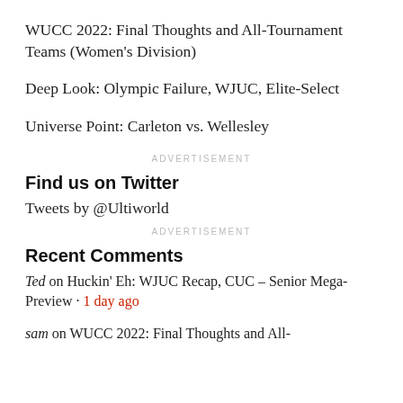WUCC 2022: Final Thoughts and All-Tournament Teams (Women's Division)
Deep Look: Olympic Failure, WJUC, Elite-Select
Universe Point: Carleton vs. Wellesley
ADVERTISEMENT
Find us on Twitter
Tweets by @Ultiworld
ADVERTISEMENT
Recent Comments
Ted on Huckin’ Eh: WJUC Recap, CUC – Senior Mega-Preview · 1 day ago
sam on WUCC 2022: Final Thoughts and All-